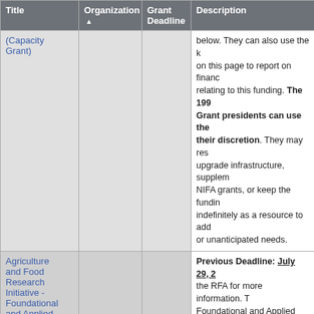| Title | Organization ▲ | Grant Deadline | Description |
| --- | --- | --- | --- |
| (Capacity Grant) |  |  | below. They can also use the [k] on this page to report on financ relating to this funding. The 199 Grant presidents can use the their discretion. They may res upgrade infrastructure, supplem NIFA grants, or keep the fundin indefinitely as a resource to add or unanticipated needs. |
| Agriculture and Food Research Initiative - Foundational and Applied Science | USDA, NIFA. |  | Previous Deadline: July 29, 2 the RFA for more information. T Foundational and Applied Scien supports grants in six AFRI prio advance knowledge in both fun and applied sciences important agriculture. The six priority area Health and Production and Plan Animal Health and Production a Products; Food Safety, Nutritio Health; Bioenergy, Natural Res Environment; Agriculture Syste Technology; and Agriculture Ec |